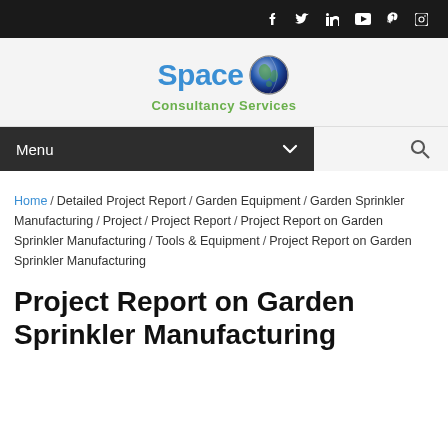Social icons: Facebook, Twitter, LinkedIn, YouTube, Pinterest, Instagram
[Figure (logo): Space Consultancy Services logo with globe icon, 'Space' in blue bold text and 'Consultancy Services' in green bold text below]
Menu
Home / Detailed Project Report / Garden Equipment / Garden Sprinkler Manufacturing / Project / Project Report / Project Report on Garden Sprinkler Manufacturing / Tools & Equipment / Project Report on Garden Sprinkler Manufacturing
Project Report on Garden Sprinkler Manufacturing